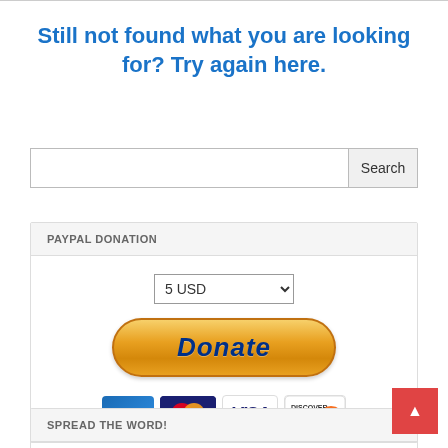Still not found what you are looking for? Try again here.
[Figure (screenshot): Search input box with a Search button]
PAYPAL DONATION
[Figure (screenshot): PayPal donation widget with 5 USD dropdown, orange Donate button, and credit card logos (American Express, MasterCard, Visa, Discover)]
SPREAD THE WORD!